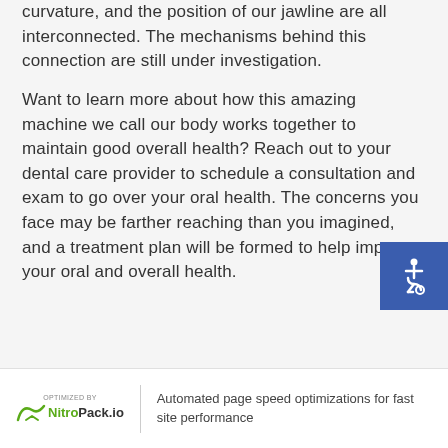curvature, and the position of our jawline are all interconnected. The mechanisms behind this connection are still under investigation.
Want to learn more about how this amazing machine we call our body works together to maintain good overall health? Reach out to your dental care provider to schedule a consultation and exam to go over your oral health. The concerns you face may be farther reaching than you imagined, and a treatment plan will be formed to help improve your oral and overall health.
[Figure (illustration): Blue square accessibility icon with wheelchair symbol in white]
OPTIMIZED BY NitroPack.io | Automated page speed optimizations for fast site performance